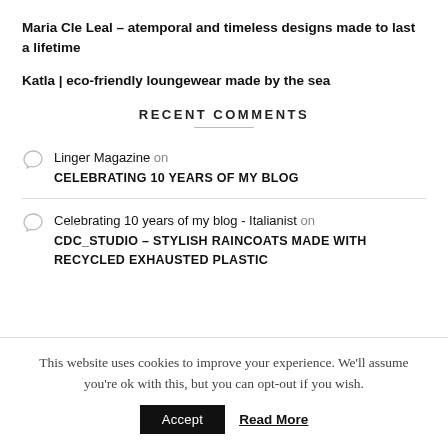Maria Cle Leal – atemporal and timeless designs made to last a lifetime
Katla | eco-friendly loungewear made by the sea
RECENT COMMENTS
Linger Magazine on CELEBRATING 10 YEARS OF MY BLOG
Celebrating 10 years of my blog - Italianist on CDC_STUDIO – STYLISH RAINCOATS MADE WITH RECYCLED EXHAUSTED PLASTIC
This website uses cookies to improve your experience. We'll assume you're ok with this, but you can opt-out if you wish. Accept Read More